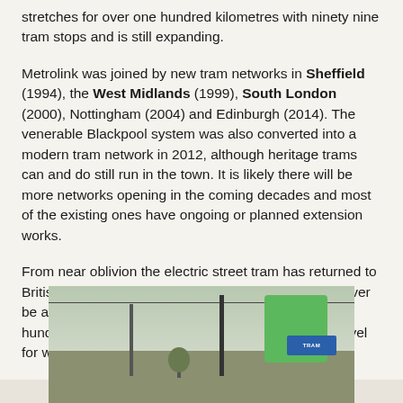stretches for over one hundred kilometres with ninety nine tram stops and is still expanding.
Metrolink was joined by new tram networks in Sheffield (1994), the West Midlands (1999), South London (2000), Nottingham (2004) and Edinburgh (2014). The venerable Blackpool system was also converted into a modern tram network in 2012, although heritage trams can and do still run in the town. It is likely there will be more networks opening in the coming decades and most of the existing ones have ongoing or planned extension works.
From near oblivion the electric street tram has returned to British towns and cities. Although the networks will never be anywhere near as extensive as they once were a hundred years ago millions of people, once again, travel for work or play along city streets in an electric tram.
[Figure (photo): Photograph of a tram stop with overhead wires, a green sign/shelter structure, a blue tram information sign, poles, and bare winter trees in the background.]